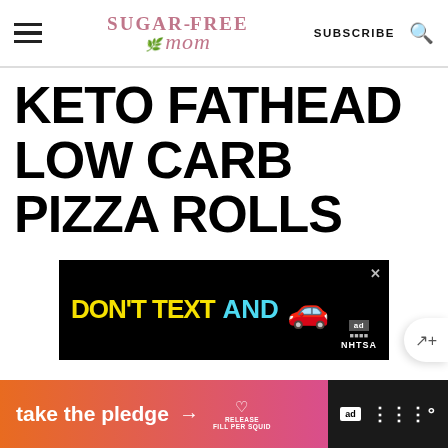SUGAR-FREE MOM — SUBSCRIBE
KETO FATHEAD LOW CARB PIZZA ROLLS
[Figure (other): Advertisement banner: DON'T TEXT AND [car emoji] — NHTSA ad]
[Figure (other): Bottom advertisement banner: take the pledge — RELEASE — ad icon]